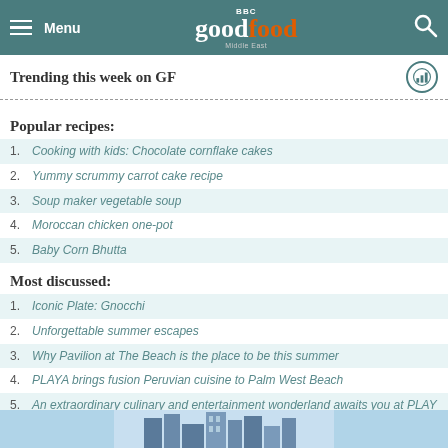Menu | BBC Good Food Middle East | Search
Trending this week on GF
Popular recipes:
Cooking with kids: Chocolate cornflake cakes
Yummy scrummy carrot cake recipe
Soup maker vegetable soup
Moroccan chicken one-pot
Baby Corn Bhutta
Most discussed:
Iconic Plate: Gnocchi
Unforgettable summer escapes
Why Pavilion at The Beach is the place to be this summer
PLAYA brings fusion Peruvian cuisine to Palm West Beach
An extraordinary culinary and entertainment wonderland awaits you at PLAY
[Figure (photo): City skyline buildings at the bottom of the page]